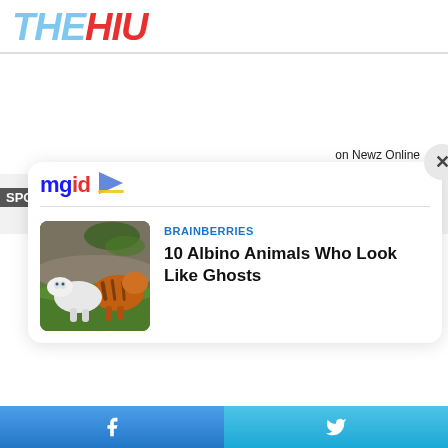[Figure (logo): THEHIU logo with THE in light blue italic bold and HIU in red italic bold]
on Newz Online
[Figure (screenshot): MGID sponsored content card with close button showing article: BRAINBERRIES - 10 Albino Animals Who Look Like Ghosts, with thumbnail of white tiger and regular tiger]
Facebook share button | Twitter share button